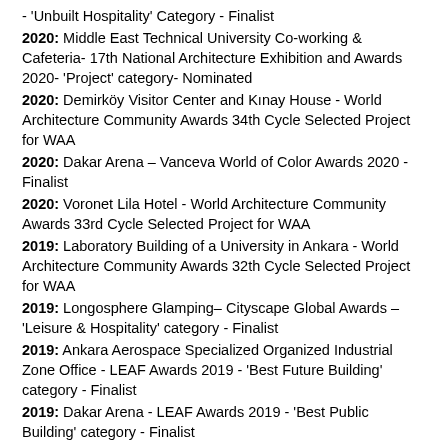- 'Unbuilt Hospitality' Category - Finalist
2020: Middle East Technical University Co-working & Cafeteria- 17th National Architecture Exhibition and Awards 2020- 'Project' category- Nominated
2020: Demirköy Visitor Center and Kınay House - World Architecture Community Awards 34th Cycle Selected Project for WAA
2020: Dakar Arena – Vanceva World of Color Awards 2020 - Finalist
2020: Voronet Lila Hotel - World Architecture Community Awards 33rd Cycle Selected Project for WAA
2019: Laboratory Building of a University in Ankara - World Architecture Community Awards 32th Cycle Selected Project for WAA
2019: Longosphere Glamping– Cityscape Global Awards – 'Leisure & Hospitality' category - Finalist
2019: Ankara Aerospace Specialized Organized Industrial Zone Office - LEAF Awards 2019 - 'Best Future Building' category - Finalist
2019: Dakar Arena - LEAF Awards 2019 - 'Best Public Building' category - Finalist
2019: Merkez Ankara Showroom– World Festival of Interiors INSIDE 2019 - 'Office' category - Finalist
2019: İğneada Glamping – World Architecture